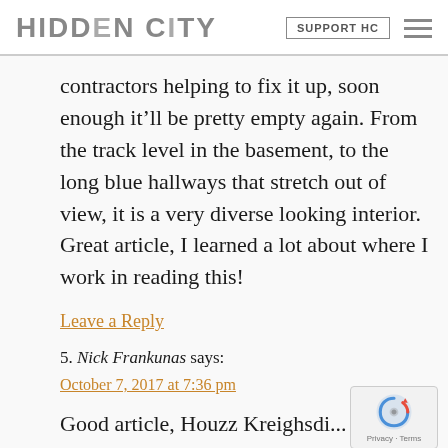HIDDEN CITY | SUPPORT HC
contractors helping to fix it up, soon enough it’ll be pretty empty again. From the track level in the basement, to the long blue hallways that stretch out of view, it is a very diverse looking interior. Great article, I learned a lot about where I work in reading this!
Leave a Reply
5. Nick Frankunas says: October 7, 2017 at 7:36 pm
Good article, Houzz Kreighsdi...